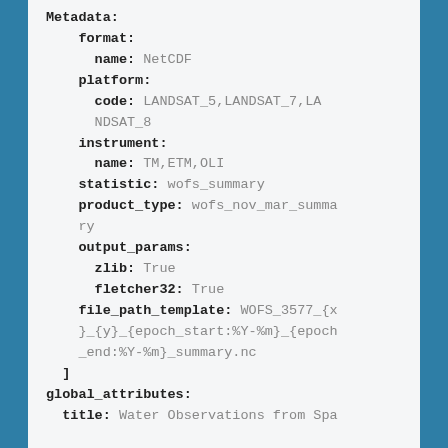Metadata:
  format:
    name: NetCDF
  platform:
    code: LANDSAT_5,LANDSAT_7,LANDSAT_8
  instrument:
    name: TM,ETM,OLI
  statistic: wofs_summary
  product_type: wofs_nov_mar_summary
  output_params:
    zlib: True
    fletcher32: True
  file_path_template: WOFS_3577_{x}_{y}_{epoch_start:%Y-%m}_{epoch_end:%Y-%m}_summary.nc
]
global_attributes:
  title: Water Observations from Spa